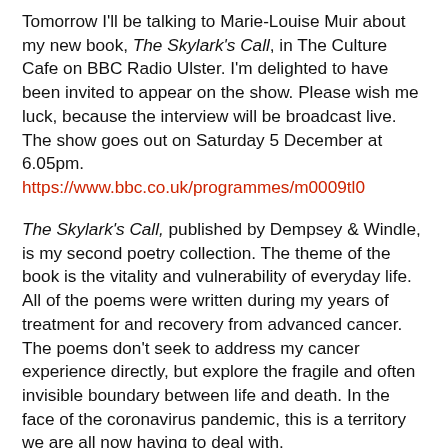Tomorrow I'll be talking to Marie-Louise Muir about my new book, The Skylark's Call, in The Culture Cafe on BBC Radio Ulster. I'm delighted to have been invited to appear on the show. Please wish me luck, because the interview will be broadcast live. The show goes out on Saturday 5 December at 6.05pm. https://www.bbc.co.uk/programmes/m0009tl0
The Skylark's Call, published by Dempsey & Windle, is my second poetry collection. The theme of the book is the vitality and vulnerability of everyday life. All of the poems were written during my years of treatment for and recovery from advanced cancer. The poems don't seek to address my cancer experience directly, but explore the fragile and often invisible boundary between life and death. In the face of the coronavirus pandemic, this is a territory we are all now having to deal with.
And on this topic, I have some great news. I've just got the results of my latest cancer surveillance CT scan. I'm delighted to say that it shows no evidence of any recurrence. That makes me clear of cancer for four years now.
Thankfully, I can begin the process of trying to calm down